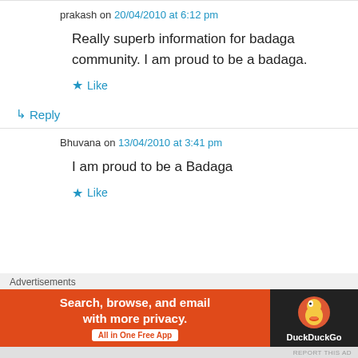prakash on 20/04/2010 at 6:12 pm
Really superb information for badaga community. I am proud to be a badaga.
★ Like
↪ Reply
Bhuvana on 13/04/2010 at 3:41 pm
I am proud to be a Badaga
★ Like
Advertisements
[Figure (infographic): DuckDuckGo advertisement banner: Search, browse, and email with more privacy. All in One Free App. DuckDuckGo logo on dark background.]